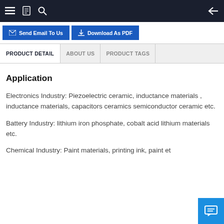≡  [book icon]  [search icon]  [back arrow]
[Figure (screenshot): Navigation bar with Send Email To Us and Download As PDF buttons]
[Figure (screenshot): Tab bar with PRODUCT DETAIL (active), ABOUT US, PRODUCT TAGS tabs]
Application
Electronics Industry: Piezoelectric ceramic, inductance materials , inductance materials, capacitors ceramics semiconductor ceramic etc.
Battery Industry: lithium iron phosphate, cobalt acid lithium materials etc.
Chemical Industry: Paint materials, printing ink, paint et